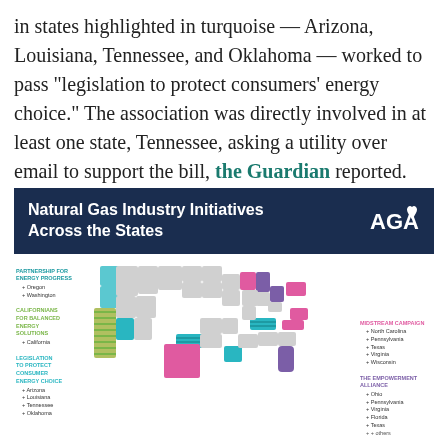in states highlighted in turquoise — Arizona, Louisiana, Tennessee, and Oklahoma — worked to pass "legislation to protect consumers' energy choice." The association was directly involved in at least one state, Tennessee, asking a utility over email to support the bill, the Guardian reported.
[Figure (map): AGA infographic titled 'Natural Gas Industry Initiatives Across the States' showing a US map with states colored by initiative: Partnership for Energy Progress (Oregon, Washington) in blue; Californians for Balanced Energy Solutions (California) in green stripes; Legislation to Protect Consumer Energy Choice (Arizona, Louisiana, Tennessee, Oklahoma) in teal/cyan; Midstream Campaign (North Carolina, Pennsylvania, Texas, Virginia, Wisconsin) in pink; The Empowerment Alliance (Ohio, Pennsylvania, Virginia, Florida, Texas, and others) in purple.]